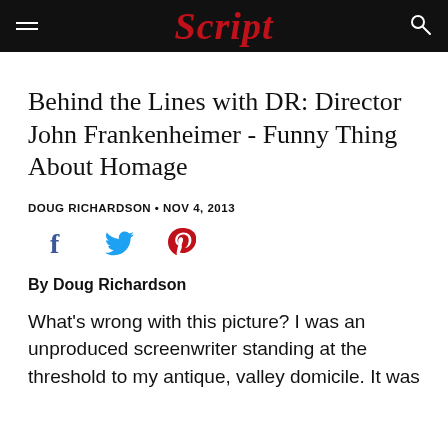Script
Behind the Lines with DR: Director John Frankenheimer - Funny Thing About Homage
DOUG RICHARDSON • NOV 4, 2013
[Figure (infographic): Social media share icons: Facebook (blue f), Twitter (blue bird), Pinterest (red P)]
By Doug Richardson
What's wrong with this picture? I was an unproduced screenwriter standing at the threshold to my antique, valley domicile. It was